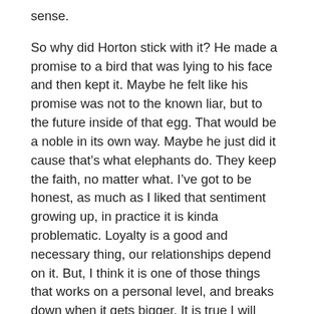sense.
So why did Horton stick with it? He made a promise to a bird that was lying to his face and then kept it. Maybe he felt like his promise was not to the known liar, but to the future inside of that egg. That would be a noble in its own way. Maybe he just did it cause that’s what elephants do. They keep the faith, no matter what. I’ve got to be honest, as much as I liked that sentiment growing up, in practice it is kinda problematic. Loyalty is a good and necessary thing, our relationships depend on it. But, I think it is one of those things that works on a personal level, and breaks down when it gets bigger. It is true I will stick with my friends, even when they are wrong, mostly, but is that a good thing? When it comes to personal relationships, yeah, it is. As long as it’s not something big, I can speak with them privately and help them to do the right thing. If it is a big deal, then I am bound by my faith in them to speak up. What happens